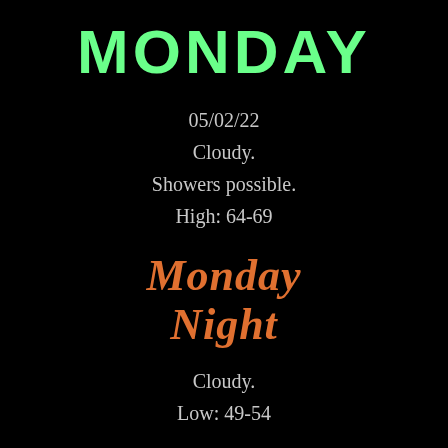MONDAY
05/02/22
Cloudy.
Showers possible.
High: 64-69
Monday Night
Cloudy.
Low: 49-54
Sponsor
[Figure (logo): Red circular logo with stylized letter K in the center, surrounded by a rope-like border, on white background]